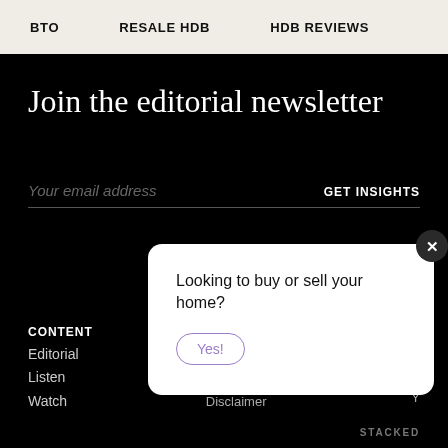BTO   RESALE HDB   HDB REVIEWS
Join the editorial newsletter
Your email address   GET INSIGHTS
CONTENT
Editorial
Listen
Watch
Privacy Policy
Disclaimer
Telegram
Y
STACKED
[Figure (screenshot): Modal popup with text 'Looking to buy or sell your home?' and a 'Yes!' button with purple outline, and an X close button in the top right corner]